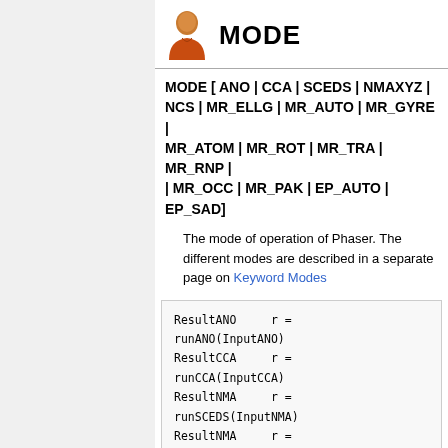MODE
MODE [ ANO | CCA | SCEDS | NMAXYZ | NCS | MR_ELLG | MR_AUTO | MR_GYRE | MR_ATOM | MR_ROT | MR_TRA | MR_RNP | | MR_OCC | MR_PAK | EP_AUTO | EP_SAD]
The mode of operation of Phaser. The different modes are described in a separate page on Keyword Modes
ResultANO     r =
runANO(InputANO)
ResultCCA     r =
runCCA(InputCCA)
ResultNMA     r =
runSCEDS(InputNMA)
ResultNMA     r =
runNMAXYZ(InputNMA)
ResultNCS     r =
runNCS(InputNCS)
ResultELLG    r =
runMR_ELLG(InputMR_ELLG)
ResultMR      r =
runMR_AUTO(InputMR_AUTO)
ResultEP      r =
runMR_ATOM(InputMR_ATOM)